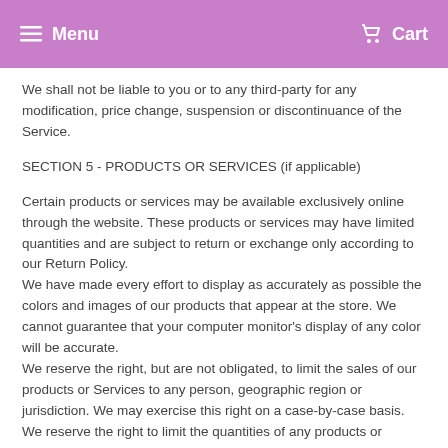Menu  Cart
We shall not be liable to you or to any third-party for any modification, price change, suspension or discontinuance of the Service.
SECTION 5 - PRODUCTS OR SERVICES (if applicable)
Certain products or services may be available exclusively online through the website. These products or services may have limited quantities and are subject to return or exchange only according to our Return Policy.
We have made every effort to display as accurately as possible the colors and images of our products that appear at the store. We cannot guarantee that your computer monitor's display of any color will be accurate.
We reserve the right, but are not obligated, to limit the sales of our products or Services to any person, geographic region or jurisdiction. We may exercise this right on a case-by-case basis. We reserve the right to limit the quantities of any products or